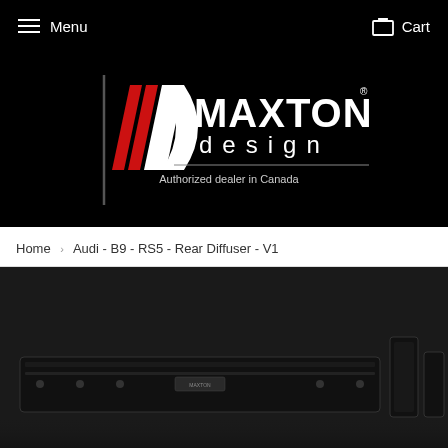Menu   Cart
[Figure (logo): Maxton Design logo with red and white chevron/arrow mark, text 'MAXTON design' and 'Authorized dealer in Canada' on black background]
Home › Audi - B9 - RS5 - Rear Diffuser - V1
[Figure (photo): Product photo of a black Audi B9 RS5 Rear Diffuser V1 car part on dark background, showing the Maxton Design branding]